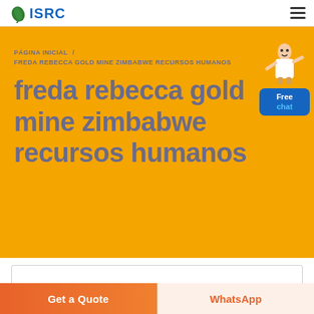ISRC logo and hamburger menu
PÁGINA INICIAL / FREDA REBECCA GOLD MINE ZIMBABWE RECURSOS HUMANOS
freda rebecca gold mine zimbabwe recursos humanos
[Figure (illustration): Free chat widget with a person figure and blue chat bubble saying 'Free chat']
Get a Quote
WhatsApp